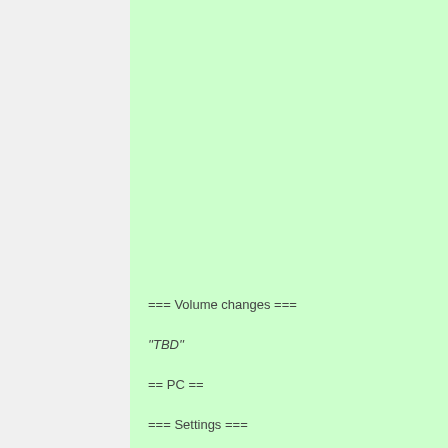=== Volume changes ===
''TBD''
== PC ==
=== Settings ===